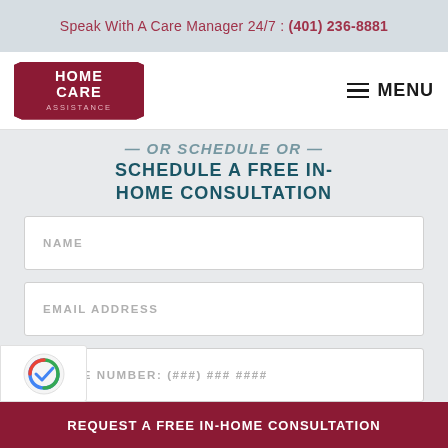Speak With A Care Manager 24/7 : (401) 236-8881
[Figure (logo): Home Care Assistance logo — dark red shield/badge shape with white text HOME CARE ASSISTANCE]
≡ MENU
SCHEDULE A FREE IN-HOME CONSULTATION
NAME
EMAIL ADDRESS
PHONE NUMBER: (###) ### ####
REQUEST A FREE IN-HOME CONSULTATION